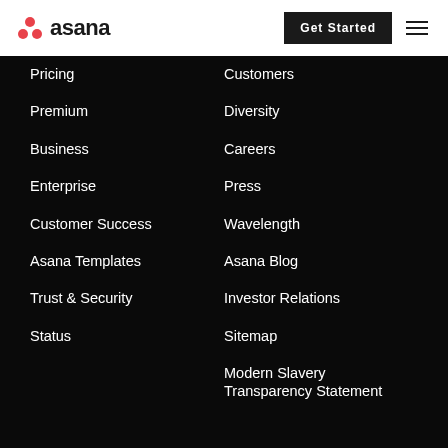asana
Pricing
Customers
Premium
Diversity
Business
Careers
Enterprise
Press
Customer Success
Wavelength
Asana Templates
Asana Blog
Trust & Security
Investor Relations
Status
Sitemap
Modern Slavery Transparency Statement